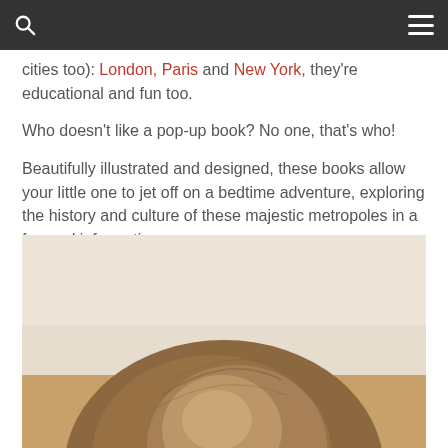Navigation bar with search and menu icons
cities too): London, Paris and New York, they’re educational and fun too.
Who doesn’t like a pop-up book? No one, that’s who!
Beautifully illustrated and designed, these books allow your little one to jet off on a bedtime adventure, exploring the history and culture of these majestic metropoles in a fun and informative way.
[Figure (photo): Back of a child's head with brown/blonde hair, seated at a wooden surface, against a light beige wall background]